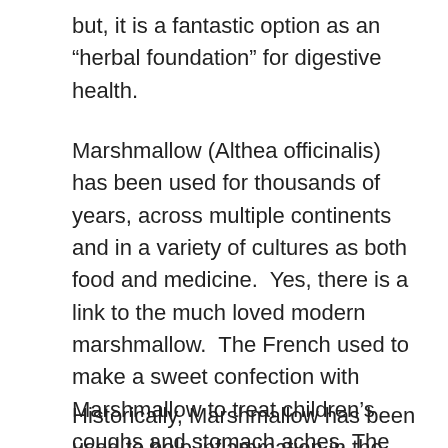but, it is a fantastic option as an “herbal foundation” for digestive health.
Marshmallow (Althea officinalis) has been used for thousands of years, across multiple continents and in a variety of cultures as both food and medicine.  Yes, there is a link to the much loved modern marshmallow.  The French used to make a sweet confection with Marshmallow to treat children’s coughs and stomach aches. The introduction of gelatin and corn syrup completely altered the original marshmallow; and became what we know today.  Who would have thought the original inspiration for a beloved campfire treat was the root of a plant!
Historically, Marshmallow has been used to help inflammation in the skin (eczema), the entire digestive